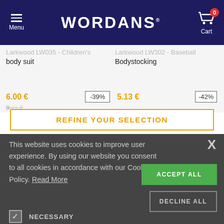[Figure (screenshot): Wordans website header with navy background, hamburger menu on left, WORDANS logo in center, cart icon with 0 badge on right]
Larkwood LW035 - Children's body suit
Larkwood LW302 - Baseball Bodystocking
6.00 €   -39%   9.xx €
5.13 €   -42%
REFINE YOUR SELECTION
This website uses cookies to improve user experience. By using our website you consent to all cookies in accordance with our Cookie Policy. Read More
NECESSARY
PERFORMANCE
ADVERTISING
FUNCTIONALITY
ACCEPT ALL
DECLINE ALL